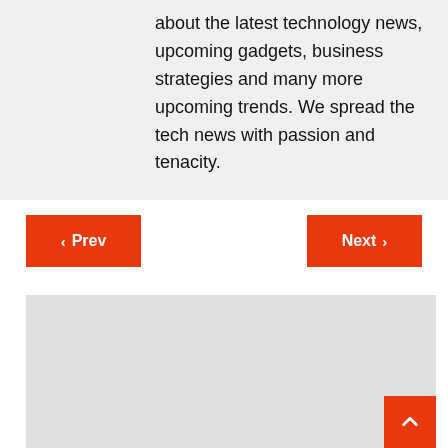about the latest technology news, upcoming gadgets, business strategies and many more upcoming trends. We spread the tech news with passion and tenacity.
< Prev
Next >
[Figure (other): Light grey rectangle placeholder area at bottom of page with orange scroll-to-top button in lower right corner]